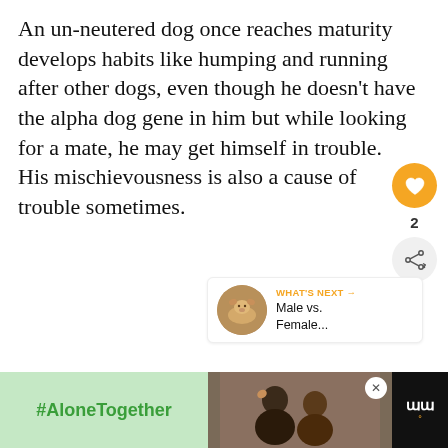An un-neutered dog once reaches maturity develops habits like humping and running after other dogs, even though he doesn’t have the alpha dog gene in him but while looking for a mate, he may get himself in trouble. His mischievousness is also a cause of trouble sometimes.
[Figure (other): Advertisement placeholder box with centered 'ADVERTISEMENT' label in gray uppercase text, with heart/like button (orange circle), share button (gray circle), count label '2', and a What's Next panel showing a dog photo thumbnail with text 'Male vs. Female...']
[Figure (other): Bottom banner ad showing '#AloneTogether' in green on light green background, a photo of two people, a close button X, and a logo on dark background]